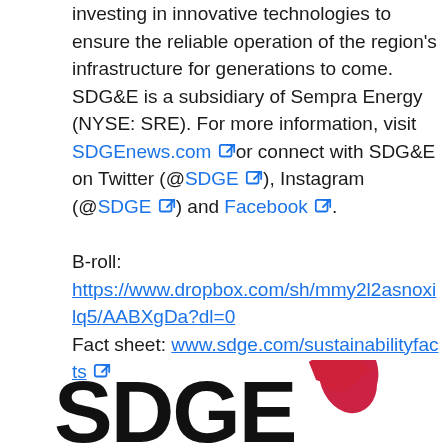investing in innovative technologies to ensure the reliable operation of the region's infrastructure for generations to come. SDG&E is a subsidiary of Sempra Energy (NYSE: SRE). For more information, visit SDGEnews.com or connect with SDG&E on Twitter (@SDGE), Instagram (@SDGE) and Facebook.
B-roll: https://www.dropbox.com/sh/mmy2l2asnoxilq5/AABXgDa?dl=0
Fact sheet: www.sdge.com/sustainabilityfacts
[Figure (logo): SDG&E logo — bold black letters 'SDGE' with a red leaf/flame shape replacing the top-right of the E]